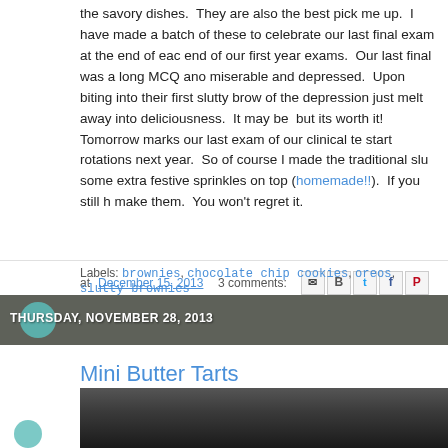the savory dishes.  They are also the best pick me up.  I have made a batch of these to celebrate our last final exam at the end of each year, end of our first year exams.  Our last final was a long MCQ and we were miserable and depressed.  Upon biting into their first slutty brownie, all of the depression just melt away into deliciousness.  It may be a lot of work, but its worth it!  Tomorrow marks our last exam of our clinical techniques, start rotations next year.  So of course I made the traditional slu with some extra festive sprinkles on top (homemade!!).  If you still haven't make them.  You won't regret it.
at December 15, 2013   3 comments:
Labels: brownies, chocolate chip cookies, oreos, slutty brownies
THURSDAY, NOVEMBER 28, 2013
Mini Butter Tarts
[Figure (photo): Partially visible food photo, dark background, top of image]